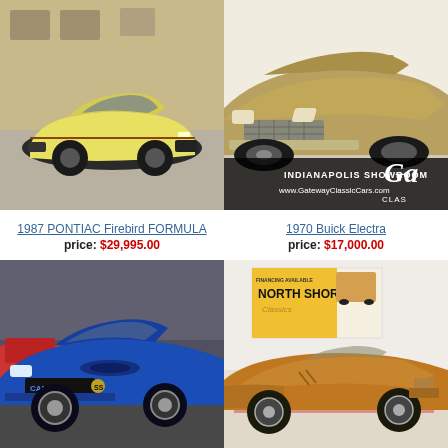[Figure (photo): 1987 Pontiac Firebird Formula – yellow sports car parked outside a brick building]
[Figure (photo): 1970 Buick Electra – gold/olive large car in Gateway Classic Cars Indianapolis Showroom]
1987 PONTIAC Firebird FORMULA
price: $29,995.00
1970 Buick Electra
price: $17,000.00
[Figure (photo): Blue 1969 Camaro in a dealership garage with other classic cars visible]
[Figure (photo): Gold/orange Corvette convertible at North Shore Classics dealership]